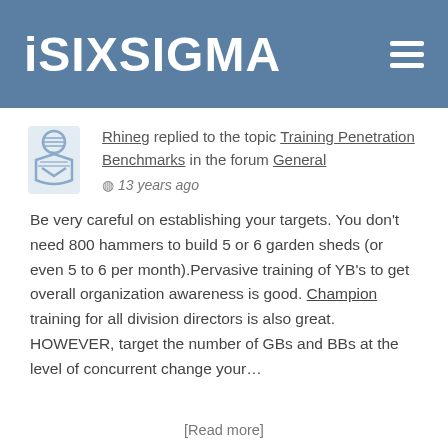iSIXSIGMA
Rhineg replied to the topic Training Penetration Benchmarks in the forum General
13 years ago
Be very careful on establishing your targets. You don't need 800 hammers to build 5 or 6 garden sheds (or even 5 to 6 per month).Pervasive training of YB's to get overall organization awareness is good. Champion training for all division directors is also great. HOWEVER, target the number of GBs and BBs at the level of concurrent change your…
[Read more]